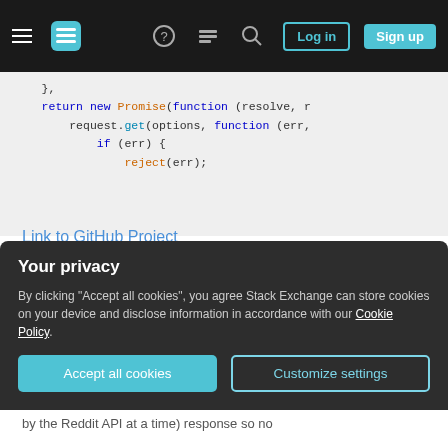Stack Exchange navigation bar with hamburger menu, logo, help, chat, search icons, Log in and Sign up buttons
[Figure (screenshot): Code block showing JavaScript with return new Promise(function (resolve, r... and request.get(options, function (err, ... and if (err) { reject(err);]
Link to GitHub Project
My questions/concerns are:
Are the uses of promises correct? Can it be made better?
I may have mixed callbacks and promises (e.g,
Your privacy
By clicking "Accept all cookies", you agree Stack Exchange can store cookies on your device and disclose information in accordance with our Cookie Policy.
by the Reddit API at a time) response so no